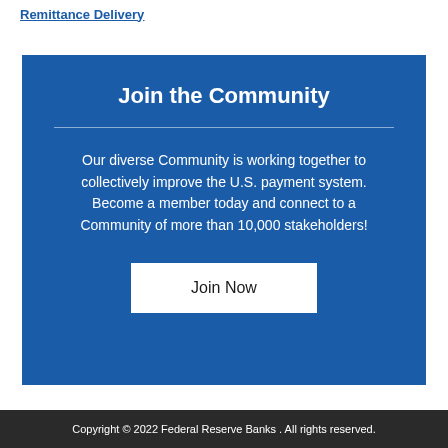Remittance Delivery
Join the Community
Our diverse Community is working together to collectively improve the U.S. payment system. Become a member today and connect to a Community of more than 10,000 stakeholders!
Join Now
Copyright © 2022 Federal Reserve Banks . All rights reserved.